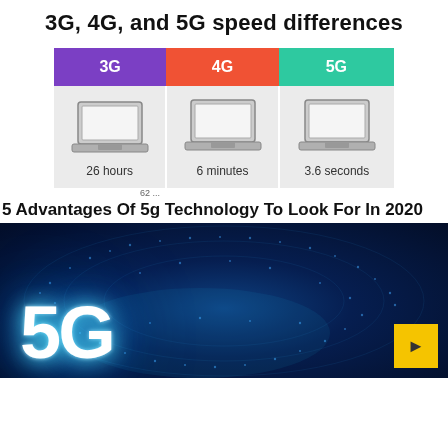3G, 4G, and 5G speed differences
[Figure (infographic): Comparison table showing 3G (purple), 4G (red/orange), and 5G (teal) columns. Each column has a laptop icon and a download time: 3G=26 hours, 4G=6 minutes, 5G=3.6 seconds.]
5 Advantages Of 5g Technology To Look For In 2020
[Figure (photo): Dark blue glowing globe/sphere made of digital dots with large glowing '5G' text in white/cyan, representing 5G technology. Yellow button in bottom-right corner.]